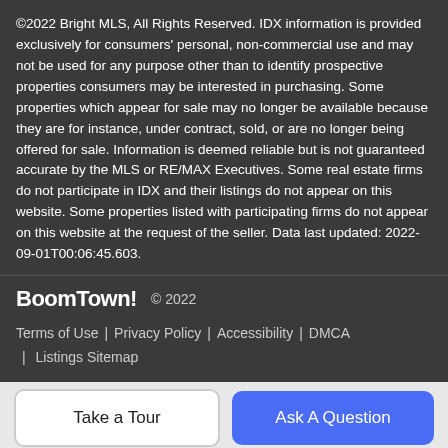©2022 Bright MLS, All Rights Reserved. IDX information is provided exclusively for consumers' personal, non-commercial use and may not be used for any purpose other than to identify prospective properties consumers may be interested in purchasing. Some properties which appear for sale may no longer be available because they are for instance, under contract, sold, or are no longer being offered for sale. Information is deemed reliable but is not guaranteed accurate by the MLS or RE/MAX Executives. Some real estate firms do not participate in IDX and their listings do not appear on this website. Some properties listed with participating firms do not appear on this website at the request of the seller. Data last updated: 2022-09-01T00:06:45.603.
BoomTown! © 2022 | Terms of Use | Privacy Policy | Accessibility | DMCA | Listings Sitemap
Take a Tour | Ask A Question